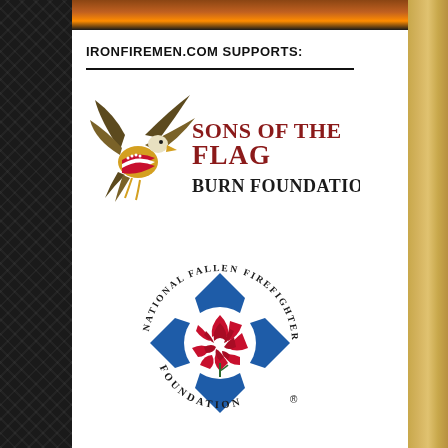[Figure (photo): Top banner photo with fire/flames imagery]
[Figure (illustration): Left dark diamond-plate metal texture strip]
[Figure (illustration): Right wood-grain texture strip]
IRONFIREMEN.COM SUPPORTS:
[Figure (logo): Sons of the Flag Burn Foundation logo - eagle with American flag colors on left, text 'SONS OF THE FLAG' in dark red serif and 'Burn Foundation' in dark gray/black serif on right]
[Figure (logo): National Fallen Firefighters Foundation logo - circular badge with blue Maltese cross, red rose in center, circular text 'National Fallen Firefighters Foundation' and registered trademark symbol]